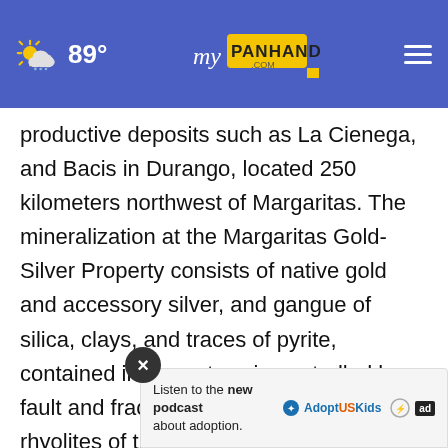89° myPanhandle.com
productive deposits such as La Cienega, and Bacis in Durango, located 250 kilometers northwest of Margaritas. The mineralization at the Margaritas Gold-Silver Property consists of native gold and accessory silver, and gangue of silica, clays, and traces of pyrite, contained in a quartz vein controlled by a fault and fractures hosted in Tertiary rhyolites of the productive Sierra Madre Occidental. The vein has been mapped along strike for 3,500 meters' and surfa... has a
[Figure (screenshot): Advertisement overlay: Listen to the new podcast about adoption. Adopt US Kids logo and ad badge.]